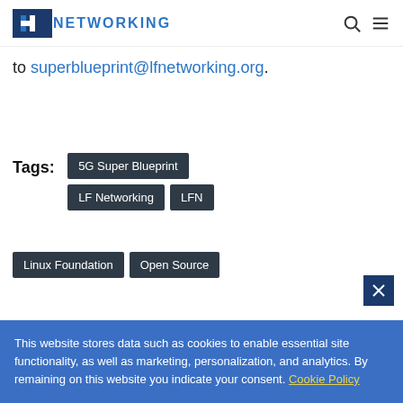LF NETWORKING
to superblueprint@lfnetworking.org.
Tags: 5G Super Blueprint  LF Networking  LFN  Linux Foundation  Open Source
This website stores data such as cookies to enable essential site functionality, as well as marketing, personalization, and analytics. By remaining on this website you indicate your consent. Cookie Policy